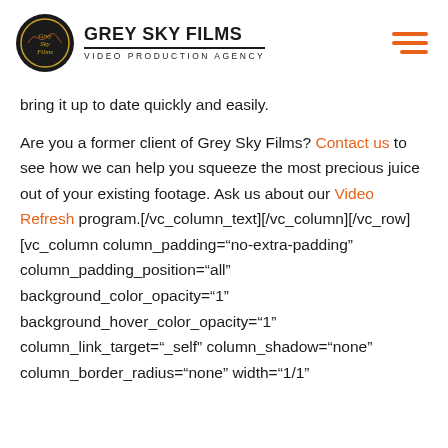GREY SKY FILMS VIDEO PRODUCTION AGENCY
bring it up to date quickly and easily.
Are you a former client of Grey Sky Films? Contact us to see how we can help you squeeze the most precious juice out of your existing footage. Ask us about our Video Refresh program.[/vc_column_text][/vc_column][/vc_row][vc_column column_padding="no-extra-padding" column_padding_position="all" background_color_opacity="1" background_hover_color_opacity="1" column_link_target="_self" column_shadow="none" column_border_radius="none" width="1/1"